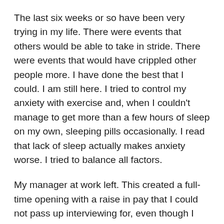The last six weeks or so have been very trying in my life. There were events that others would be able to take in stride. There were events that would have crippled other people more. I have done the best that I could. I am still here. I tried to control my anxiety with exercise and, when I couldn't manage to get more than a few hours of sleep on my own, sleeping pills occasionally. I read that lack of sleep actually makes anxiety worse. I tried to balance all factors.
My manager at work left. This created a full-time opening with a raise in pay that I could not pass up interviewing for, even though I find interviews highly stressful. I didn't get that position. But another full-time position became available, so then I had to interview for that. And the decision-making process took longer. I had to plan several meetings for "Work Interview" that I had and "What should I...